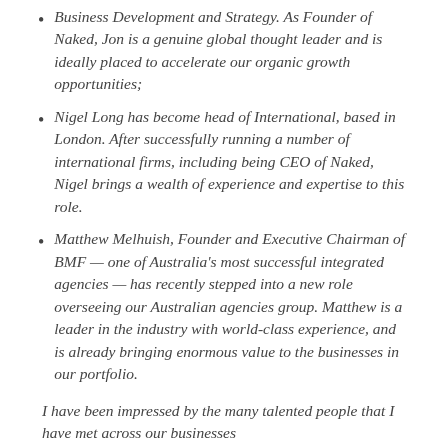Business Development and Strategy. As Founder of Naked, Jon is a genuine global thought leader and is ideally placed to accelerate our organic growth opportunities;
Nigel Long has become head of International, based in London. After successfully running a number of international firms, including being CEO of Naked, Nigel brings a wealth of experience and expertise to this role.
Matthew Melhuish, Founder and Executive Chairman of BMF — one of Australia's most successful integrated agencies — has recently stepped into a new role overseeing our Australian agencies group. Matthew is a leader in the industry with world-class experience, and is already bringing enormous value to the businesses in our portfolio.
I have been impressed by the many talented people that I have met across our businesses